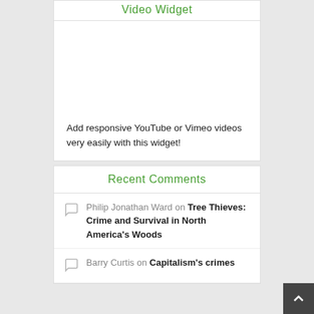Video Widget
[Figure (other): Blank white video placeholder area]
Add responsive YouTube or Vimeo videos very easily with this widget!
Recent Comments
Philip Jonathan Ward on Tree Thieves: Crime and Survival in North America's Woods
Barry Curtis on Capitalism's crimes ...